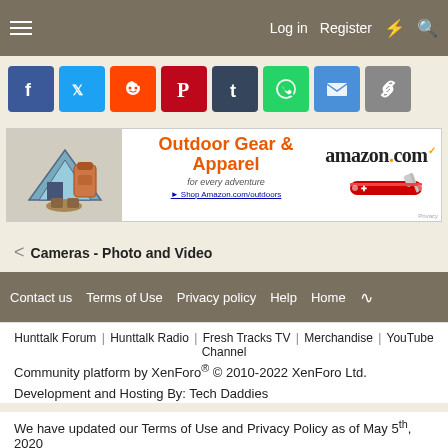Log in  Register
[Figure (infographic): Social sharing buttons row: Facebook, Twitter, Reddit, Pinterest, Tumblr, WhatsApp, Email, Link]
[Figure (infographic): Amazon advertisement banner: Outdoor Gear & Apparel for every adventure. Shop Amazon.com/outdoors]
< Cameras - Photo and Video
Contact us  Terms of Use  Privacy policy  Help  Home
Hunttalk Forum | Hunttalk Radio | Fresh Tracks TV | Merchandise | YouTube Channel
Community platform by XenForo® © 2010-2022 XenForo Ltd.
Development and Hosting By: Tech Daddies
We have updated our Terms of Use and Privacy Policy as of May 5th, 2020